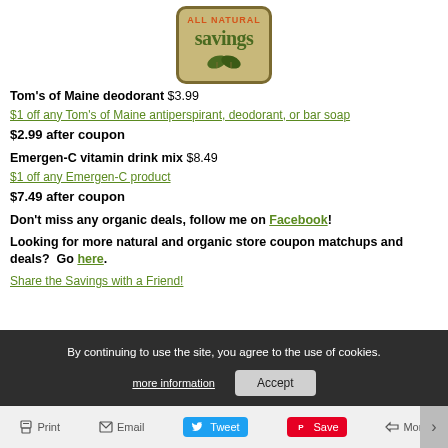[Figure (logo): All Natural Savings logo — tan/beige rounded rectangle with orange text 'ALL NATURAL' and green serif text 'SaVingS' with leaf icons]
Tom's of Maine deodorant $3.99
$1 off any Tom's of Maine antiperspirant, deodorant, or bar soap
$2.99 after coupon
Emergen-C vitamin drink mix $8.49
$1 off any Emergen-C product
$7.49 after coupon
Don't miss any organic deals, follow me on Facebook!
Looking for more natural and organic store coupon matchups and deals?  Go here.
Share the Savings with a Friend!
By continuing to use the site, you agree to the use of cookies.
more information   Accept